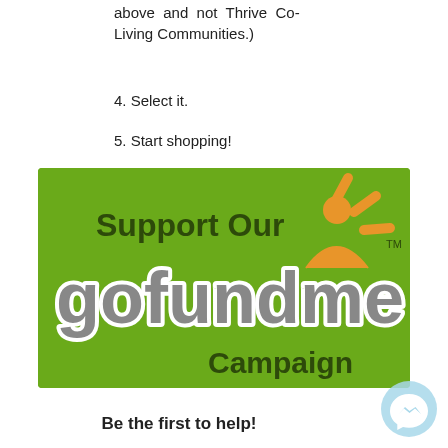above and not Thrive Co-Living Communities.)
4. Select it.
5. Start shopping!
[Figure (logo): GoFundMe campaign banner on green background with 'Support Our gofundme Campaign' text and GoFundMe logo with orange person icon]
Be the first to help!